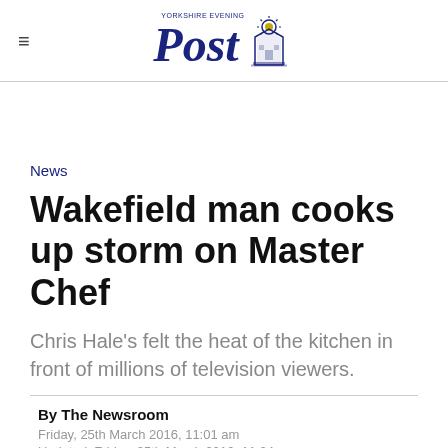Yorkshire Evening Post
News
Wakefield man cooks up storm on Master Chef
Chris Hale's felt the heat of the kitchen in front of millions of television viewers.
By The Newsroom
Friday, 25th March 2016, 11:01 am
Updated: Friday, 25th March 2016, 11:24 pm